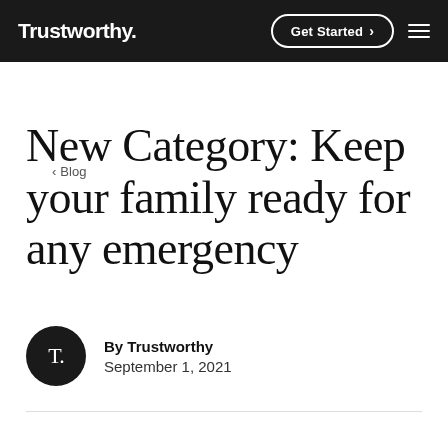Trustworthy. | Get Started > ≡
< Blog
New Category: Keep your family ready for any emergency
By Trustworthy
September 1, 2021